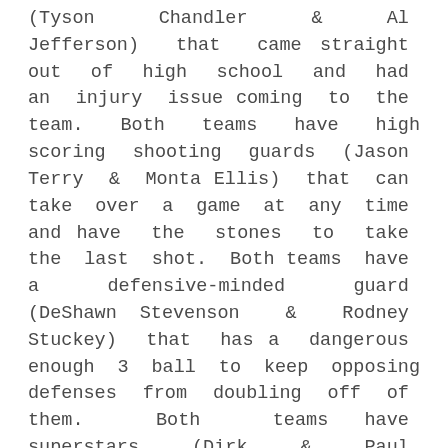(Tyson Chandler & Al Jefferson) that came straight out of high school and had an injury issue coming to the team. Both teams have high scoring shooting guards (Jason Terry & Monta Ellis) that can take over a game at any time and have the stones to take the last shot. Both teams have a defensive-minded guard (DeShawn Stevenson & Rodney Stuckey) that has a dangerous enough 3 ball to keep opposing defenses from doubling off of them. Both teams have superstars (Dirk & Paul George) that analysts wonder if they will ever have a chance at a championship (PG13 was because of injury).
Does this mean I am picking the Pacers to sweep the Cavs in the second round (as the Mavs did to the...